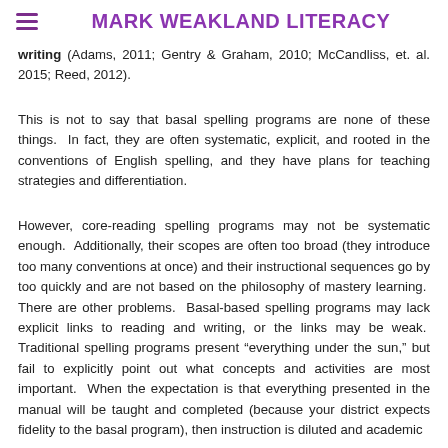MARK WEAKLAND LITERACY
writing (Adams, 2011; Gentry & Graham, 2010; McCandliss, et. al. 2015; Reed, 2012).
This is not to say that basal spelling programs are none of these things. In fact, they are often systematic, explicit, and rooted in the conventions of English spelling, and they have plans for teaching strategies and differentiation.
However, core-reading spelling programs may not be systematic enough. Additionally, their scopes are often too broad (they introduce too many conventions at once) and their instructional sequences go by too quickly and are not based on the philosophy of mastery learning. There are other problems. Basal-based spelling programs may lack explicit links to reading and writing, or the links may be weak. Traditional spelling programs present “everything under the sun,” but fail to explicitly point out what concepts and activities are most important. When the expectation is that everything presented in the manual will be taught and completed (because your district expects fidelity to the basal program), then instruction is diluted and academic